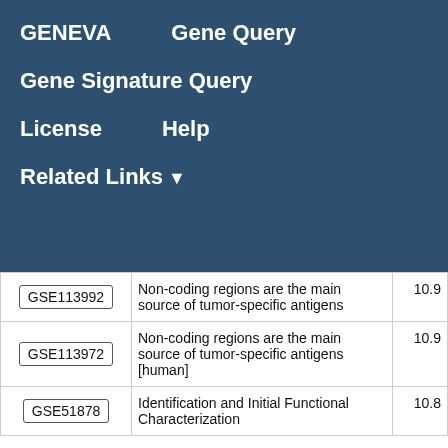GENEVA    Gene Query
Gene Signature Query
License    Help
Related Links ▼
|  | Description | Score |
| --- | --- | --- |
| GSE113992 | Non-coding regions are the main source of tumor-specific antigens | 10.9 |
| GSE113972 | Non-coding regions are the main source of tumor-specific antigens [human] | 10.9 |
| GSE51878 | Identification and Initial Functional Characterization | 10.8 |